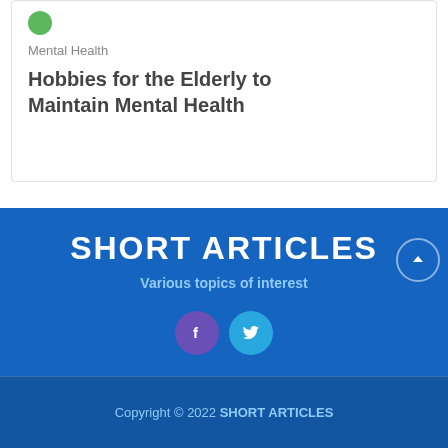Mental Health
Hobbies for the Elderly to Maintain Mental Health
SHORT ARTICLES
Various topics of interest
Copyright © 2022 SHORT ARTICLES